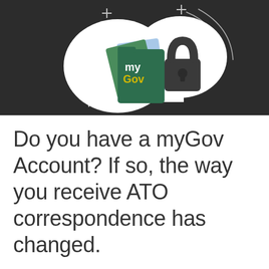[Figure (illustration): myGov account illustration: dark background with white cloud shape containing a myGov card (green folder with 'my Gov' text in white and yellow), Australian government document cards, and a padlock icon. Decorative plus signs and curved lines in white overlay the dark background.]
Do you have a myGov Account? If so, the way you receive ATO correspondence has changed.